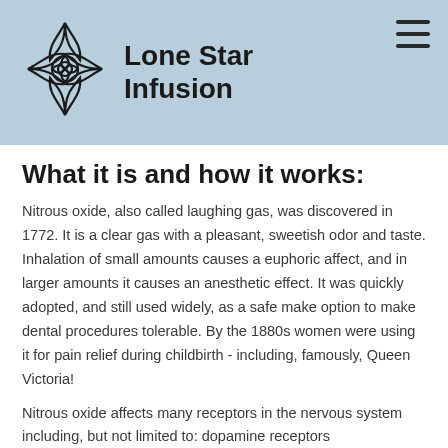[Figure (logo): Lone Star Infusion logo with a floral/star shape and company name text]
What it is and how it works:
Nitrous oxide, also called laughing gas, was discovered in 1772. It is a clear gas with a pleasant, sweetish odor and taste. Inhalation of small amounts causes a euphoric affect, and in larger amounts it causes an anesthetic effect. It was quickly adopted, and still used widely, as a safe make option to make dental procedures tolerable. By the 1880s women were using it for pain relief during childbirth - including, famously, Queen Victoria!
Nitrous oxide affects many receptors in the nervous system including, but not limited to: dopamine receptors